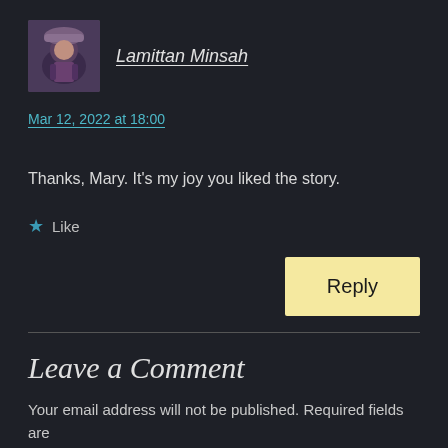[Figure (photo): Avatar photo of Lamittan Minsah, a person wearing a hat with purple clothing]
Lamittan Minsah
Mar 12, 2022 at 18:00
Thanks, Mary. It's my joy you liked the story.
★ Like
Reply
Leave a Comment
Your email address will not be published. Required fields are